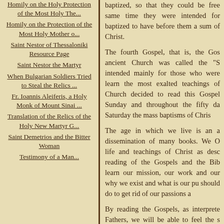Homily on the Holy Protection of the Most Holy The...
Homily on the Protection of the Most Holy Mother o...
Saint Nestor of Thessaloniki Resource Page
Saint Nestor the Martyr
When Bulgarian Soldiers Tried to Steal the Relics ...
Fr. Ioannis Aleiferis, a Holy Monk of Mount Sinai ...
Translation of the Relics of the Holy New Martyr G...
Saint Demetrios and the Bitter Woman
Testimony of a Man...
baptized, so that they could be free... same time they were intended for... baptized to have before them a sum... of Christ.
The fourth Gospel, that is, the Gos... ancient Church was called the "S... intended mainly for those who were... learn the most exalted teachings of... Church decided to read this Gospel... Sunday and throughout the fifty da... Saturday the mass baptisms of Chris...
The age in which we live is an a... dissemination of many books. We O... life and teachings of Christ as desc... reading of the Gospels and the Bib... learn our mission, our work and our... why we exist and what is our pur... should do to get rid of our passions a...
By reading the Gospels, as interprete... Fathers, we will be able to feel the s... the sweetness of our salvation.
Source: Translated by John Sanidopoulos.